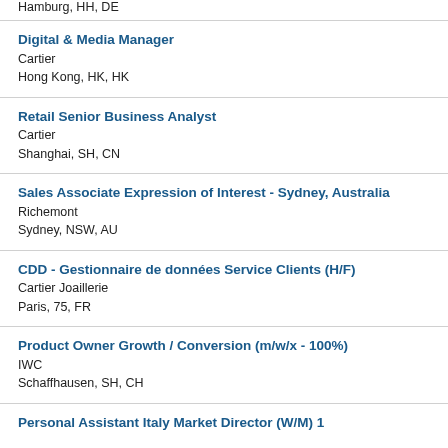Hamburg, HH, DE
Digital & Media Manager
Cartier
Hong Kong, HK, HK
Retail Senior Business Analyst
Cartier
Shanghai, SH, CN
Sales Associate Expression of Interest - Sydney, Australia
Richemont
Sydney, NSW, AU
CDD - Gestionnaire de données Service Clients (H/F)
Cartier Joaillerie
Paris, 75, FR
Product Owner Growth / Conversion (m/w/x - 100%)
IWC
Schaffhausen, SH, CH
Personal Assistant Italy Market Director (W/M) 1